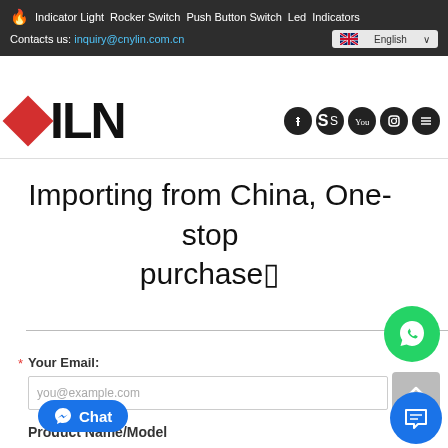Indicator Light  Rocker Switch  Push Button Switch  Led Indicators  Contacts us: inquiry@cnylin.com.cn  English
[Figure (logo): FILN company logo with red diamond and bold black letters, social media icons on right]
Importing from China, One-stop purchase□
Your Email:
you@example.com
Product Name/Model
[Figure (other): Green WhatsApp chat button circle]
[Figure (other): Blue Messenger Chat button]
[Figure (other): Scroll up button (double chevron up)]
[Figure (other): Blue live chat circle icon]